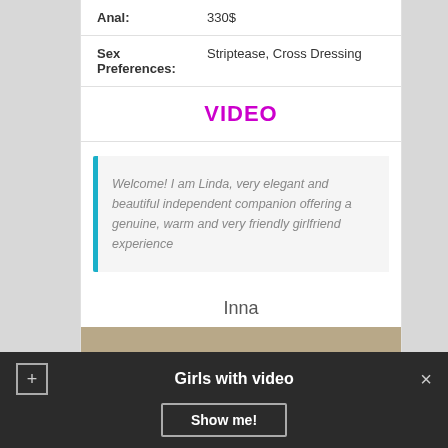| Anal: | 330$ |
| Sex Preferences: | Striptease, Cross Dressing |
VIDEO
Welcome! I am Linda, very elegant and beautiful independent companion offering a genuine, warm and very friendly girlfriend experience
Inna
[Figure (photo): Partial photo of a person, cropped at bottom of page]
Girls with video
Show me!